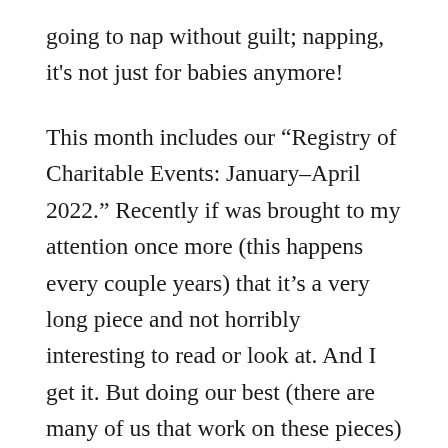going to nap without guilt; napping, it's not just for babies anymore!
This month includes our “Registry of Charitable Events: January–April 2022.” Recently if was brought to my attention once more (this happens every couple years) that it’s a very long piece and not horribly interesting to read or look at. And I get it. But doing our best (there are many of us that work on these pieces) to make certain that every nonprofit event gets its fair share of space to entice you to buy a ticket, go to their event and support their nonprofit is of exceeding importance to me, and to Avenue. So I’m asking